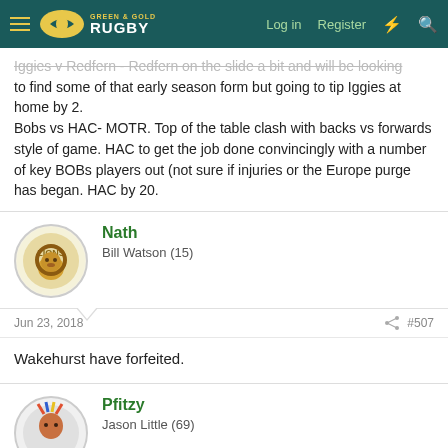Green & Gold Rugby — Log in | Register
Iggies v Redfern - Redfern on the slide a bit and will be looking to find some of that early season form but going to tip Iggies at home by 2.
Bobs vs HAC- MOTR. Top of the table clash with backs vs forwards style of game. HAC to get the job done convincingly with a number of key BOBs players out (not sure if injuries or the Europe purge has began. HAC by 20.
Nath
Bill Watson (15)
Jun 23, 2018
#507
Wakehurst have forfeited.
Pfitzy
Jason Little (69)